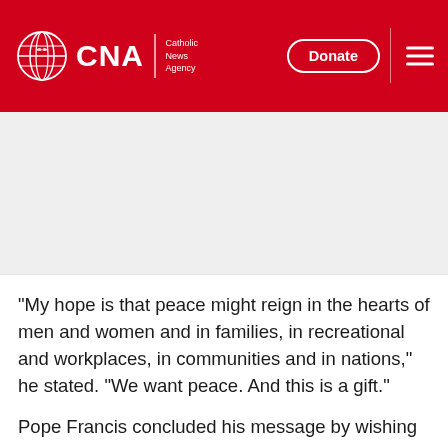[Figure (logo): CNA Catholic News Agency logo on red header background with Donate button and hamburger menu]
[Figure (photo): Gray placeholder image area below header]
"My hope is that peace might reign in the hearts of men and women and in families, in recreational and workplaces, in communities and in nations," he stated. "We want peace. And this is a gift."
Pope Francis concluded his message by wishing